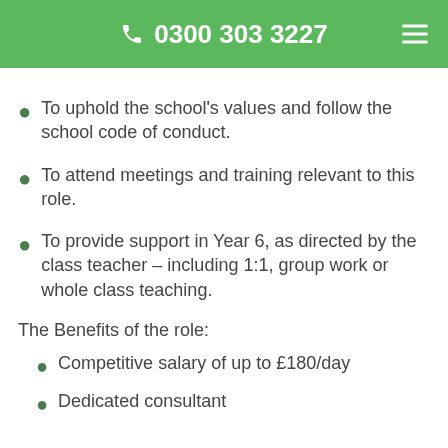0300 303 3227
To uphold the school's values and follow the school code of conduct.
To attend meetings and training relevant to this role.
To provide support in Year 6, as directed by the class teacher – including 1:1, group work or whole class teaching.
The Benefits of the role:
Competitive salary of up to £180/day
Dedicated consultant